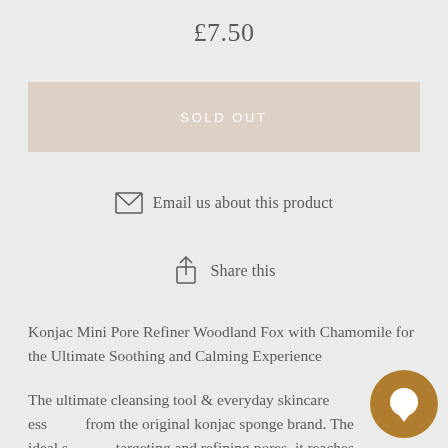£7.50
SOLD OUT
Email us about this product
Share this
Konjac Mini Pore Refiner Woodland Fox with Chamomile for the Ultimate Soothing and Calming Experience
The ultimate cleansing tool & everyday skincare ess… from the original konjac sponge brand. The ideal s… targeting and refining pores, it reaches deep into cr… around the nose and chin where larger pores can develop. It